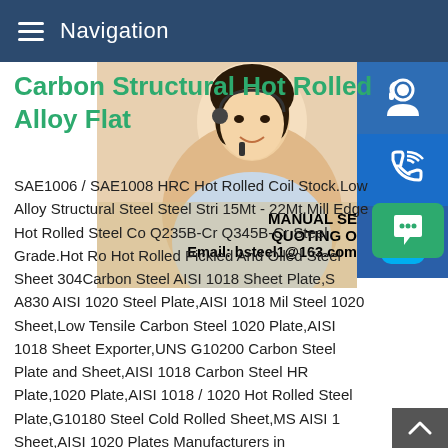Navigation
Carbon Structural Hot Rolled Alloy Flat
[Figure (photo): Woman with headset in customer service role, partially visible on right side of page]
[Figure (infographic): Three blue icon buttons on right side: customer service icon, phone/call icon, Skype icon. Text overlays: MANUAL SE[RVICE], QUOTING O[NLINE], Email: bsteel1@163.com]
SAE1006 / SAE1008 HRC Hot Rolled Coil Stock.Low Alloy Structural Steel Steel Stri[p] 15Mt - 22Mt.Mill Edge Hot Rolled Steel Co[il] Q235B-Cr Q345B-Cr Steel Grade.Hot Ro[lled] Hot Rolled Pickled And Oiled Steel Sheet 304Carbon Steel AISI 1018 Sheet Plate,S[teel] A830 AISI 1020 Steel Plate,AISI 1018 Mil[d] Steel 1020 Sheet,Low Tensile Carbon Steel 1020 Plate,AISI 1018 Sheet Exporter,UNS G10200 Carbon Steel Plate and Sheet,AISI 1018 Carbon Steel HR Plate,1020 Plate,AISI 1018 / 1020 Hot Rolled Steel Plate,G10180 Steel Cold Rolled Sheet,MS AISI 1[018] Sheet,AISI 1020 Plates Manufacturers in Mumbai,India.Buy H[ot] Roll Steel Sheet Plate OnlineWe carry Hot Roll Steel Sheet/Pl[ate]